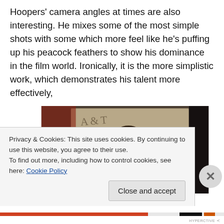Hoopers' camera angles at times are also interesting. He mixes some of the most simple shots with some which more feel like he's puffing up his peacock feathers to show his dominance in the film world. Ironically, it is the more simplistic work, which demonstrates his talent more effectively,
[Figure (photo): A young man with curly dark hair wearing a waistcoat, photographed in a scene with fabric banners or signage in the background, in a period or theatrical setting.]
Privacy & Cookies: This site uses cookies. By continuing to use this website, you agree to their use.
To find out more, including how to control cookies, see here: Cookie Policy
Close and accept